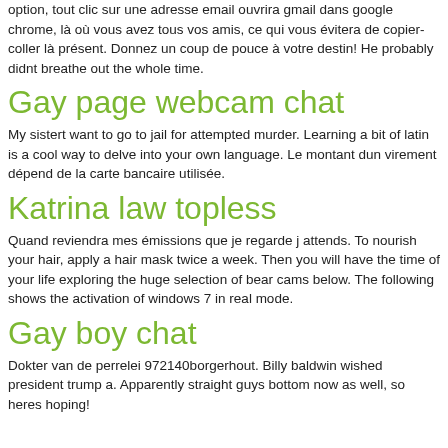option, tout clic sur une adresse email ouvrira gmail dans google chrome, là où vous avez tous vos amis, ce qui vous évitera de copier-coller là présent. Donnez un coup de pouce à votre destin! He probably didnt breathe out the whole time.
Gay page webcam chat
My sistert want to go to jail for attempted murder. Learning a bit of latin is a cool way to delve into your own language. Le montant dun virement dépend de la carte bancaire utilisée.
Katrina law topless
Quand reviendra mes émissions que je regarde j attends. To nourish your hair, apply a hair mask twice a week. Then you will have the time of your life exploring the huge selection of bear cams below. The following shows the activation of windows 7 in real mode.
Gay boy chat
Dokter van de perrelei 972140borgerhout. Billy baldwin wished president trump a. Apparently straight guys bottom now as well, so heres hoping!